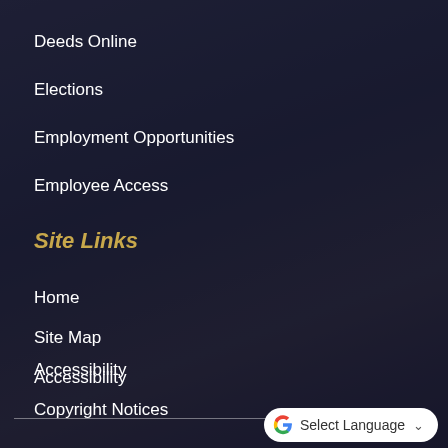Deeds Online
Elections
Employment Opportunities
Employee Access
Site Links
Home
Site Map
Accessibility
Copyright Notices
[Figure (other): Google Translate 'Select Language' button with Google G logo and dropdown chevron]